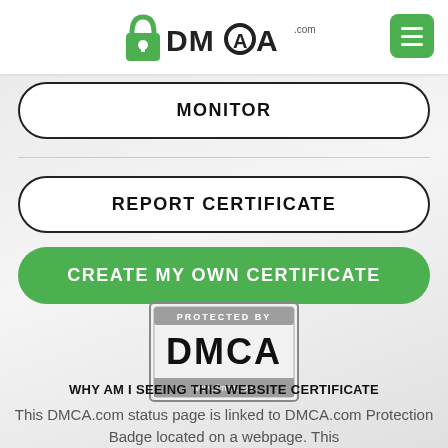[Figure (logo): DMCA.com logo with padlock icon and green menu button in top right]
MONITOR
REPORT CERTIFICATE
CREATE MY OWN CERTIFICATE
[Figure (logo): PROTECTED BY DMCA www.dmca.com badge — black and gray square badge]
WHY AM I SEEING THIS WEBSITE CERTIFICATE
This DMCA.com status page is linked to DMCA.com Protection Badge located on a webpage. This